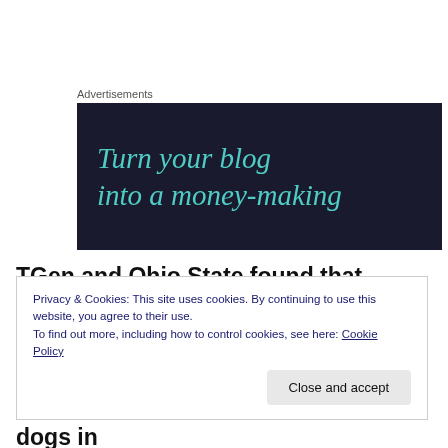Advertisements
[Figure (illustration): Advertisement banner with dark navy background and teal italic text reading: Turn your blog into a money-making]
TGen and Ohio State found that neratinib — a drug that has successfully been used to battle human breast cancer — might also work for many of the nearly 40,000 dogs in
Privacy & Cookies: This site uses cookies. By continuing to use this website, you agree to their use.
To find out more, including how to control cookies, see here: Cookie Policy